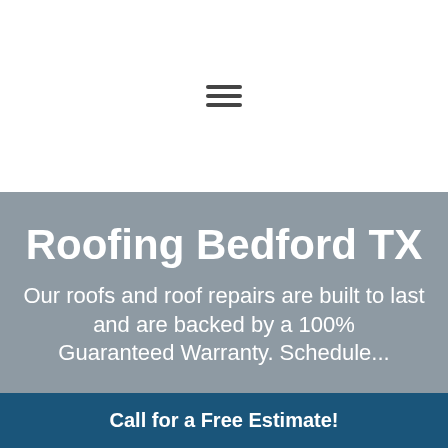[Figure (other): Hamburger menu icon with three horizontal lines]
Roofing Bedford TX
Our roofs and roof repairs are built to last and are backed by a 100% Guaranteed Warranty. Schedule...
Call for a Free Estimate!